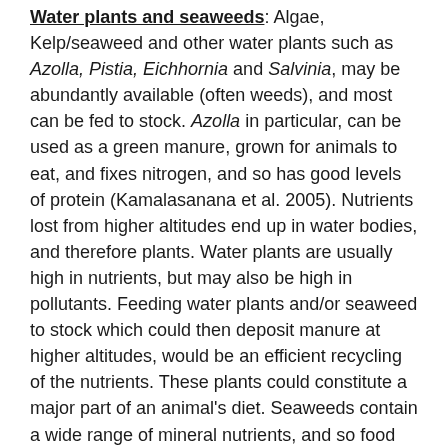Water plants and seaweeds: Algae, Kelp/seaweed and other water plants such as Azolla, Pistia, Eichhornia and Salvinia, may be abundantly available (often weeds), and most can be fed to stock. Azolla in particular, can be used as a green manure, grown for animals to eat, and fixes nitrogen, and so has good levels of protein (Kamalasanana et al. 2005). Nutrients lost from higher altitudes end up in water bodies, and therefore plants. Water plants are usually high in nutrients, but may also be high in pollutants. Feeding water plants and/or seaweed to stock which could then deposit manure at higher altitudes, would be an efficient recycling of the nutrients. These plants could constitute a major part of an animal's diet. Seaweeds contain a wide range of mineral nutrients, and so food produced from soils to which seaweed has been added should be good for human nutrition.